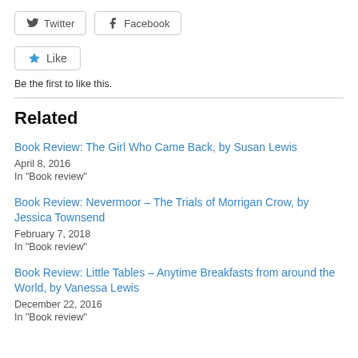[Figure (other): Twitter and Facebook share buttons]
[Figure (other): Like button with star icon]
Be the first to like this.
Related
Book Review: The Girl Who Came Back, by Susan Lewis
April 8, 2016
In "Book review"
Book Review: Nevermoor – The Trials of Morrigan Crow, by Jessica Townsend
February 7, 2018
In "Book review"
Book Review: Little Tables – Anytime Breakfasts from around the World, by Vanessa Lewis
December 22, 2016
In "Book review"